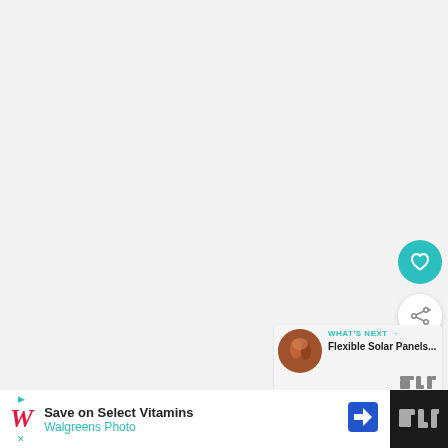[Figure (screenshot): Large light gray content area, mostly blank, representing a video or web page background]
[Figure (illustration): Teal circular heart/favorite button icon]
[Figure (illustration): White circular share button icon with share symbol]
[Figure (illustration): What's Next card showing a thumbnail image and text 'Flexible Solar Panels...' with Tubi logo]
[Figure (illustration): Advertisement banner: Walgreens - Save on Select Vitamins, Walgreens Photo]
[Figure (logo): Tubi logo watermark on dark background sidebar]